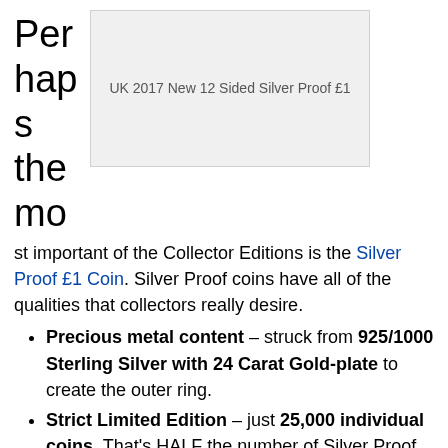Perhaps the most important of the Collector Editions is the Silver Proof £1 Coin. Silver Proof coins have all of the qualities that collectors really desire.
[Figure (other): Image placeholder for UK 2017 New 12 Sided Silver Proof £1 coin with caption text]
Precious metal content – struck from 925/1000 Sterling Silver with 24 Carat Gold-plate to create the outer ring.
Strict Limited Edition – just 25,000 individual coins. That's HALF the number of Silver Proof £1 Coins that were issued for the original Round £1 Coin in 1983.
Perfect Proof Finish – even better than Brilliant Uncirculated, Proof coins are struck several times using specially polished dies to create a flawless finish with a perfect mirrored background and